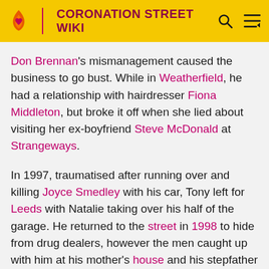CORONATION STREET WIKI
Don Brennan's mismanagement caused the business to go bust. While in Weatherfield, he had a relationship with hairdresser Fiona Middleton, but broke it off when she lied about visiting her ex-boyfriend Steve McDonald at Strangeways.
In 1997, traumatised after running over and killing Joyce Smedley with his car, Tony left for Leeds with Natalie taking over his half of the garage. He returned to the street in 1998 to hide from drug dealers, however the men caught up with him at his mother's house and his stepfather Des Barnes lost his life defending Tony from them. After this, Tony and Natalie became totally estranged. In 2000, his body was found in a building site